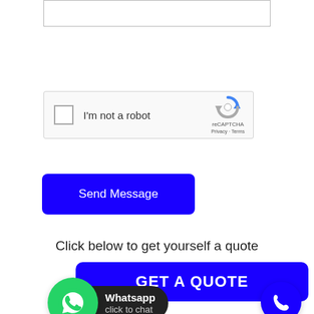[Figure (screenshot): Input text box at top of page, partially visible]
[Figure (screenshot): Google reCAPTCHA widget with checkbox labeled 'I'm not a robot']
[Figure (screenshot): Blue 'Send Message' button]
Click below to get yourself a quote
[Figure (screenshot): Blue 'GET A QUOTE' button]
[Figure (screenshot): WhatsApp 'click to chat' widget with green WhatsApp icon and black label]
[Figure (screenshot): Blue circle phone call button on right side]